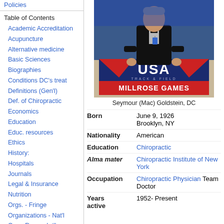Policies
Table of Contents
Academic Accreditation
Acupuncture
Alternative medicine
Basic Sciences
Biographies
Conditions DC's treat
Definitions (Gen'l)
Def. of Chiropractic
Economics
Education
Educ. resources
Ethics
History:
Hospitals
Journals
Legal & Insurance
Nutrition
Orgs. - Fringe
Organizations - Nat'l
Orgs. Recog. Int'l
[Figure (photo): Seymour (Mac) Goldstein, DC standing in front of a USA Track & Field Millrose Games banner, wearing a black tuxedo and lanyard badge]
Seymour (Mac) Goldstein, DC
| Born | June 9, 1926
Brooklyn, NY |
| Nationality | American |
| Education | Chiropractic |
| Alma mater | Chiropractic Institute of New York |
| Occupation | Chiropractic Physician Team Doctor |
| Years active | 1952- Present |